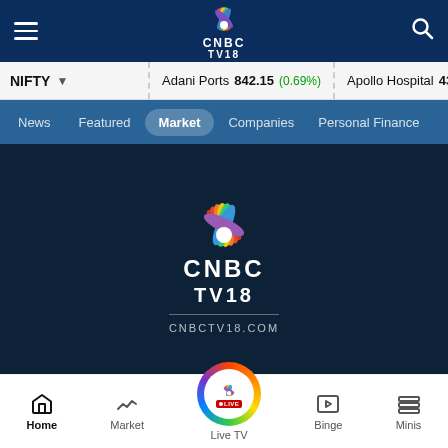[Figure (screenshot): CNBC TV18 mobile app screenshot showing top navigation bar with hamburger menu, CNBC TV18 logo, and search icon on dark navy background]
NIFTY ▾  Adani Ports 842.15 (0.69%)  Apollo Hospital 4322.90 (1.6%)
News  Featured  Market  Companies  Personal Finance
[Figure (logo): CNBC TV18 logo with peacock feathers on dark navy background with text CNBCTV18.COM]
Home  Market  Live TV  Binge  Minis